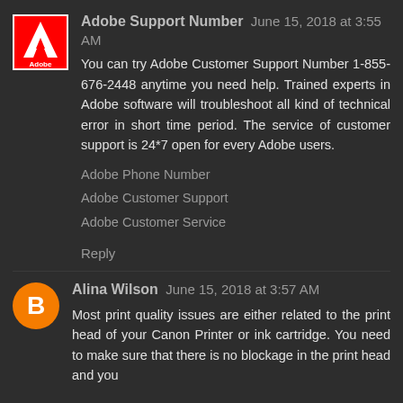[Figure (logo): Adobe logo — red square with white 'A' shape and 'Adobe' text below]
Adobe Support Number  June 15, 2018 at 3:55 AM
You can try Adobe Customer Support Number 1-855-676-2448 anytime you need help. Trained experts in Adobe software will troubleshoot all kind of technical error in short time period. The service of customer support is 24*7 open for every Adobe users.
Adobe Phone Number
Adobe Customer Support
Adobe Customer Service
Reply
[Figure (logo): Blogger orange circle icon with white 'B' letter]
Alina Wilson  June 15, 2018 at 3:57 AM
Most print quality issues are either related to the print head of your Canon Printer or ink cartridge. You need to make sure that there is no blockage in the print head and you